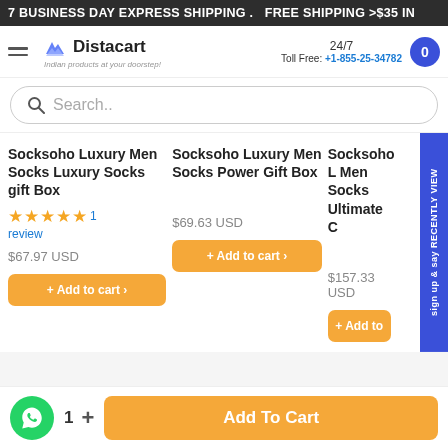7 BUSINESS DAY EXPRESS SHIPPING . FREE SHIPPING >$35 IN
[Figure (logo): Distacart logo with hamburger menu, 24/7 Toll Free number +1-855-25-34782 and cart button]
Search..
Socksoho Luxury Men Socks Luxury Socks gift Box
★★★★★ 1 review
$67.97 USD
+ Add to cart >
Socksoho Luxury Men Socks Power Gift Box
$69.63 USD
+ Add to cart >
Socksoho L Men Socks Ultimate C
$157.33 USD
+ Add to
sign up & say RECENTLY VIEW
1
+
Add To Cart